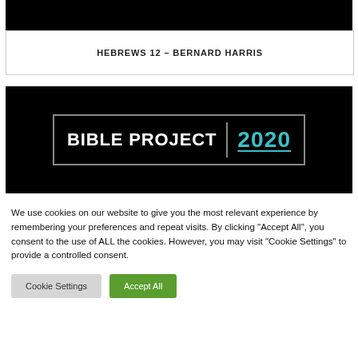[Figure (other): Black image bar at top of page]
HEBREWS 12 – BERNARD HARRIS
[Figure (logo): Bible Project 2020 logo on black background with teal year text]
We use cookies on our website to give you the most relevant experience by remembering your preferences and repeat visits. By clicking "Accept All", you consent to the use of ALL the cookies. However, you may visit "Cookie Settings" to provide a controlled consent.
Cookie Settings | Accept All